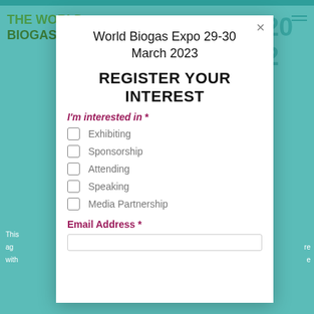[Figure (screenshot): Background showing World Biogas Expo website with teal/green color scheme, logo text and expo branding]
World Biogas Expo 29-30 March 2023
REGISTER YOUR INTEREST
I'm interested in *
Exhibiting
Sponsorship
Attending
Speaking
Media Partnership
Email Address *